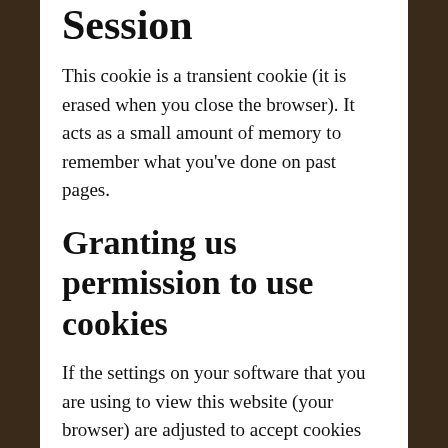Session
This cookie is a transient cookie (it is erased when you close the browser). It acts as a small amount of memory to remember what you've done on past pages.
Granting us permission to use cookies
If the settings on your software that you are using to view this website (your browser) are adjusted to accept cookies we take this, and your continued use of our website, to mean that you are fine with this. Should you wish to remove or not use cookies from our site you can learn how to do this below; however doing so will likely mean that our site will not work as you...